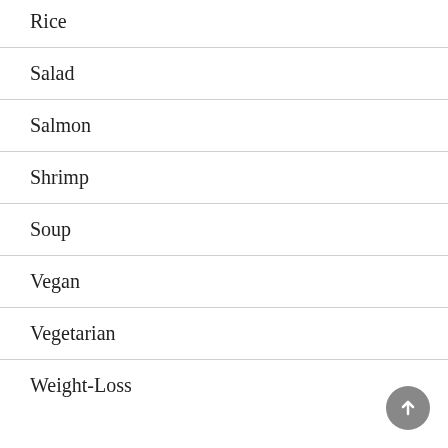Rice
Salad
Salmon
Shrimp
Soup
Vegan
Vegetarian
Weight-Loss